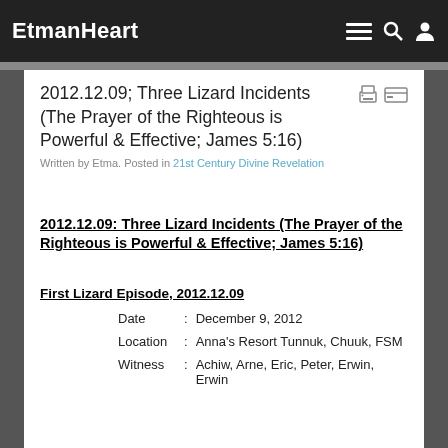EtmanHeart
2012.12.09; Three Lizard Incidents (The Prayer of the Righteous is Powerful & Effective; James 5:16)
Written by Etma. Posted in 21st Century Divine Revelation
2012.12.09: Three Lizard Incidents (The Prayer of the Righteous is Powerful & Effective; James 5:16)
First Lizard Episode, 2012.12.09
Date : December 9, 2012
Location : Anna's Resort Tunnuk, Chuuk, FSM
Witness : Achiw, Arne, Eric, Peter, Erwin, Erwin